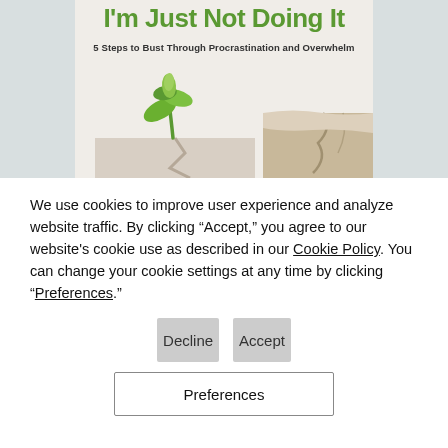[Figure (illustration): Partial book cover showing title 'I'm Just Not Doing It', subtitle '5 Steps to Bust Through Procrastination and Overwhelm', with a green plant sprouting through cracked ground, on a light background with grey side margins.]
We use cookies to improve user experience and analyze website traffic. By clicking “Accept,” you agree to our website's cookie use as described in our Cookie Policy. You can change your cookie settings at any time by clicking “Preferences.”
Decline
Accept
Preferences